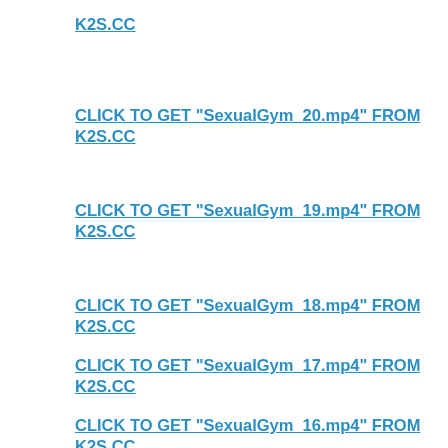K2S.CC
CLICK TO GET "SexualGym_20.mp4" FROM K2S.CC
CLICK TO GET "SexualGym_19.mp4" FROM K2S.CC
CLICK TO GET "SexualGym_18.mp4" FROM K2S.CC
CLICK TO GET "SexualGym_17.mp4" FROM K2S.CC
CLICK TO GET "SexualGym_16.mp4" FROM K2S.CC